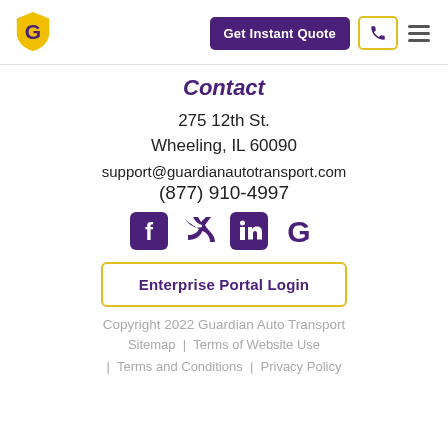[Figure (logo): Guardian Auto Transport logo: yellow shield with G icon]
Get Instant Quote
[Figure (other): Phone icon in yellow-bordered box]
[Figure (other): Hamburger menu icon]
Contact
275 12th St.
Wheeling, IL 60090
support@guardianautotransport.com
(877) 910-4997
[Figure (other): Social media icons: Facebook, Twitter, LinkedIn, Google]
Enterprise Portal Login
Copyright 2022 Guardian Auto Transport
Sitemap | Terms of Website Use | Terms and Conditions | Privacy Policy